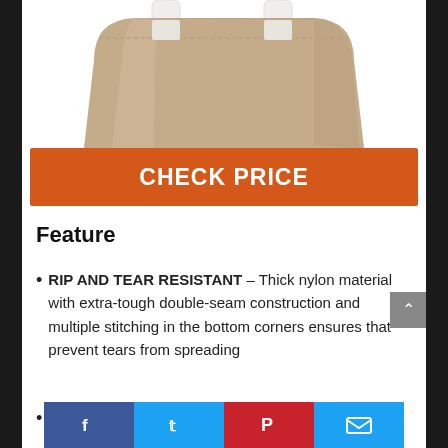[Figure (photo): Product photo of a beige/tan nylon laundry bag with white plastic handle, shown from a slightly elevated angle against a white background. Only the bottom portion of the bag is visible.]
CHECK PRICE
Feature
RIP AND TEAR RESISTANT – Thick nylon material with extra-tough double-seam construction and multiple stitching in the bottom corners ensures that prevent tears from spreading
UPGRADED DRAWSTRING CLOSURE
Facebook | Twitter | Pinterest | Email